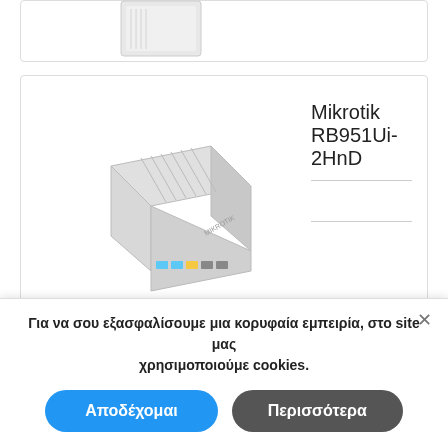[Figure (photo): Partial view of a network router/device, top card cut off at top of page]
[Figure (photo): Mikrotik RB951Ui-2HnD network router, white/gray box with ventilation grilles and ethernet ports]
Mikrotik RB951Ui-2HnD
Σελίδα 1 από 4
Για να σου εξασφαλίσουμε μια κορυφαία εμπειρία, στο site μας χρησιμοποιούμε cookies.